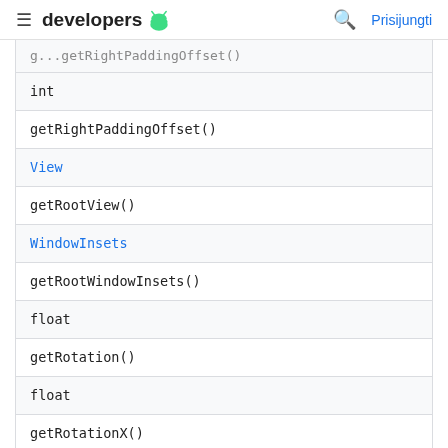≡ developers 🤖  🔍 Prisijungti
| (truncated) |
| int |
| getRightPaddingOffset() |
| View |
| getRootView() |
| WindowInsets |
| getRootWindowInsets() |
| float |
| getRotation() |
| float |
| getRotationX() |
| float |
| getRotationY() |
| float |